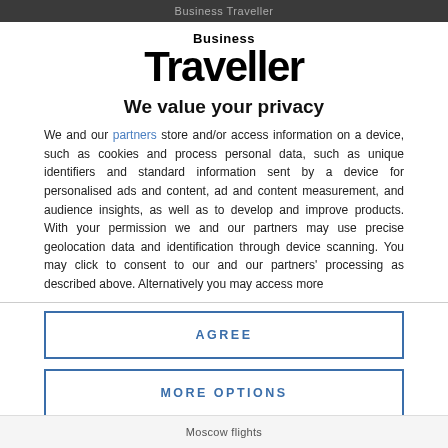Business Traveller
[Figure (logo): Business Traveller magazine logo with 'Business' in small bold text above 'Traveller' in large bold text]
We value your privacy
We and our partners store and/or access information on a device, such as cookies and process personal data, such as unique identifiers and standard information sent by a device for personalised ads and content, ad and content measurement, and audience insights, as well as to develop and improve products. With your permission we and our partners may use precise geolocation data and identification through device scanning. You may click to consent to our and our partners' processing as described above. Alternatively you may access more
AGREE
MORE OPTIONS
Moscow flights